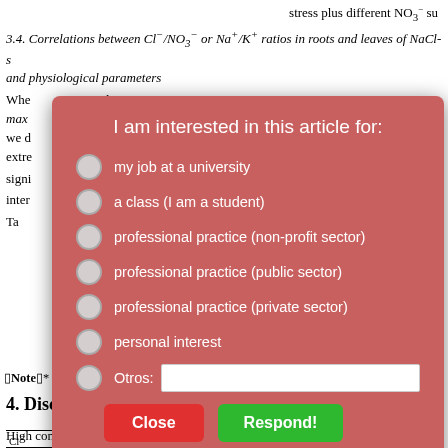stress plus different NO3⁻ su
3.4. Correlations between Cl⁻/NO3⁻ or Na⁺/K⁺ ratios in roots and leaves of NaCl-s and physiological parameters
When ... and R max ... fresh w we d ... signi extre ... ot vig signi ... Cl⁻/NO inter ...
[Figure (screenshot): Modal dialog overlay with pink/red background titled 'I am interested in this article for:' with radio button options: my job at a university, a class (I am a student), professional practice (non-profit sector), professional practice (public sector), professional practice (private sector), personal interest, Otros: [text input]. Buttons: Close (red), Respond! (green). Footer: This survey is part of a research project coordinated by FLACSO, PKP, RedALyC, SciELO, and Latindex.]
□Note□* show significant correlation, ** show extre
4. Discussion
High concentrations of Na⁺ and Cl⁻ in soil environments will produce osmotic stre